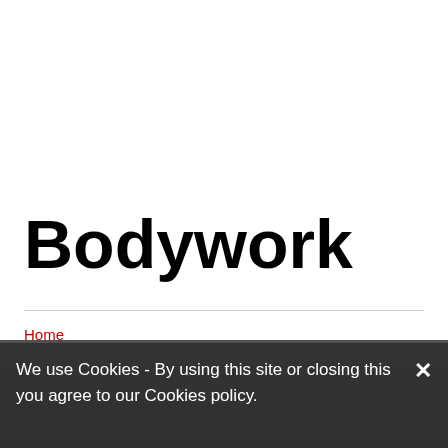Bodywork
Home
Services
Bodywork
[Figure (photo): Dark background photo, partially visible, appears to show a vehicle or body-related surface]
We use Cookies - By using this site or closing this you agree to our Cookies policy.